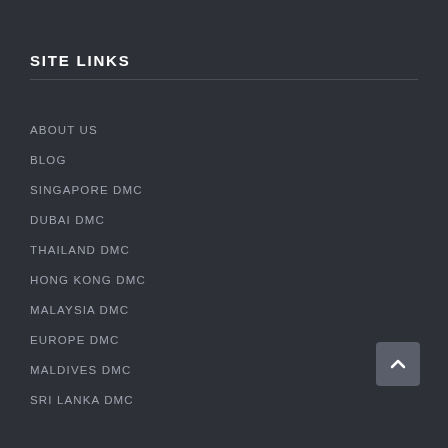SITE LINKS
ABOUT US
BLOG
SINGAPORE DMC
DUBAI DMC
THAILAND DMC
HONG KONG DMC
MALAYSIA DMC
EUROPE DMC
MALDIVES DMC
SRI LANKA DMC